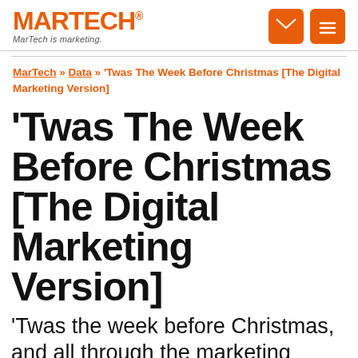MARTECH® MarTech is marketing.
MarTech » Data » 'Twas The Week Before Christmas [The Digital Marketing Version]
'Twas The Week Before Christmas [The Digital Marketing Version]
'Twas the week before Christmas, and all through the marketing team, Every person was busy, a few ready to scream, The